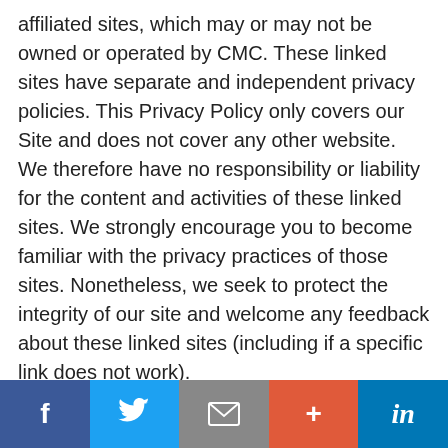affiliated sites, which may or may not be owned or operated by CMC. These linked sites have separate and independent privacy policies. This Privacy Policy only covers our Site and does not cover any other website. We therefore have no responsibility or liability for the content and activities of these linked sites. We strongly encourage you to become familiar with the privacy practices of those sites. Nonetheless, we seek to protect the integrity of our site and welcome any feedback about these linked sites (including if a specific link does not work).
Contacting Us:
[Figure (infographic): Social sharing bar with five buttons: Facebook (blue, f icon), Twitter (light blue, bird icon), Email (grey, envelope icon), Plus/Share (orange-red, + icon), LinkedIn (dark blue, in icon)]